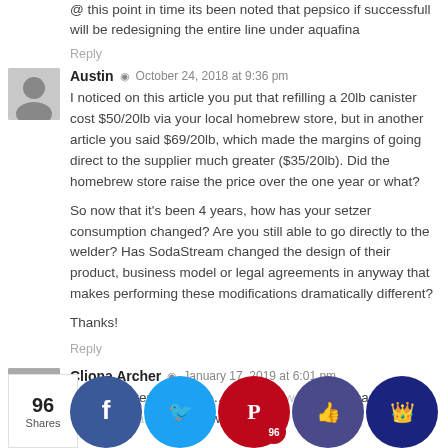@ this point in time its been noted that pepsico if successfull will be redesigning the entire line under aquafina
Reply
Austin · October 24, 2018 at 9:36 pm
I noticed on this article you put that refilling a 20lb canister cost $50/20lb via your local homebrew store, but in another article you said $69/20lb, which made the margins of going direct to the supplier much greater ($35/20lb). Did the homebrew store raise the price over the one year or what?

So now that it's been 4 years, how has your setzer consumption changed? Are you still able to go directly to the welder? Has SodaStream changed the design of their product, business model or legal agreements in anyway that makes performing these modifications dramatically different?

Thanks!
Reply
Cliona Archer · January 17, 2019 at 6:01 pm
H...nk for...ter, h...guage...azon do...work. I t...e cap of t...sodastream...anister wh...